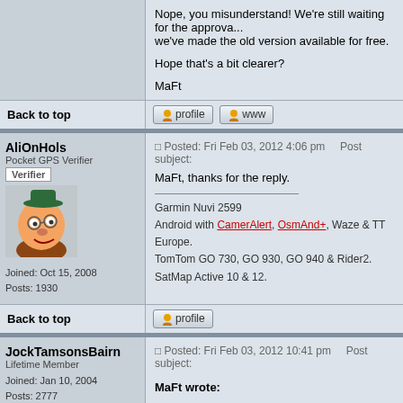Nope, you misunderstand! We're still waiting for the approval... we've made the old version available for free.

Hope that's a bit clearer?

MaFt
Back to top
[Figure (screenshot): Profile and WWW buttons]
AliOnHols
Pocket GPS Verifier
Verifier
[Figure (illustration): Cartoon character avatar]
Joined: Oct 15, 2008
Posts: 1930
Posted: Fri Feb 03, 2012 4:06 pm    Post subject:

MaFt, thanks for the reply.

Garmin Nuvi 2599
Android with CamerAlert, OsmAnd+, Waze & TT Europe.
TomTom GO 730, GO 930, GO 940 & Rider2.
SatMap Active 10 & 12.
Back to top
[Figure (screenshot): Profile button]
JockTamsonsBairn
Lifetime Member
Joined: Jan 10, 2004
Posts: 2777
Posted: Fri Feb 03, 2012 10:41 pm    Post subject:

MaFt wrote: